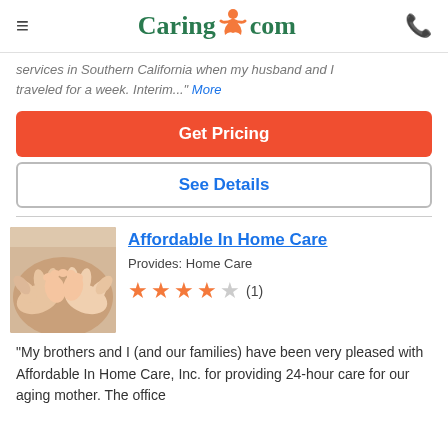Caring.com
services in Southern California when my husband and I traveled for a week. Interim..." More
Get Pricing
See Details
Affordable In Home Care
Provides: Home Care
★★★★☆ (1)
"My brothers and I (and our families) have been very pleased with Affordable In Home Care, Inc. for providing 24-hour care for our aging mother. The office